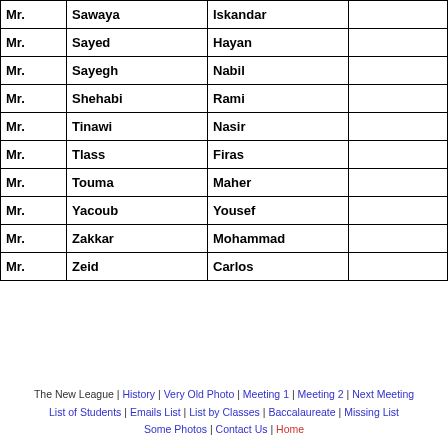|  | Last Name | First Name |  |
| --- | --- | --- | --- |
| Mr. | Sawaya | Iskandar |  |
| Mr. | Sayed | Hayan |  |
| Mr. | Sayegh | Nabil |  |
| Mr. | Shehabi | Rami |  |
| Mr. | Tinawi | Nasir |  |
| Mr. | Tlass | Firas |  |
| Mr. | Touma | Maher |  |
| Mr. | Yacoub | Yousef |  |
| Mr. | Zakkar | Mohammad |  |
| Mr. | Zeid | Carlos |  |
The New League | History | Very Old Photo | Meeting 1 | Meeting 2 | Next Meeting List of Students | Emails List | List by Classes | Baccalaureate | Missing List Some Photos | Contact Us | Home